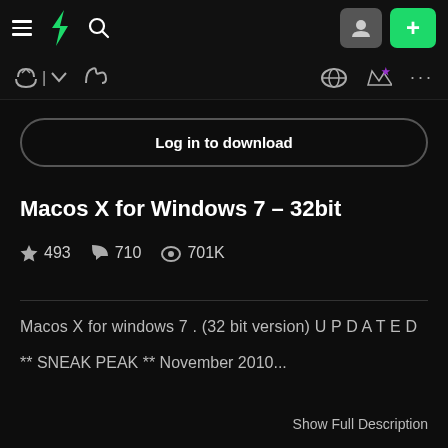DeviantArt navigation header with hamburger menu, logo, search, avatar and plus button
Toolbar with icons and more options
Log in to download
Macos X for Windows 7 – 32bit
493  710  701K
Macos X for windows 7 . (32 bit version) U P D A T E D
** SNEAK PEAK ** November 2010...
Show Full Description